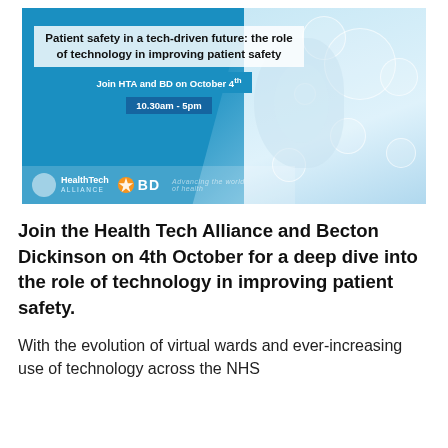[Figure (infographic): Health Tech Alliance and BD event banner. Blue background with white diagonal section. Title reads: 'Patient safety in a tech-driven future: the role of technology in improving patient safety'. Blue button: 'Join HTA and BD on October 4th'. Dark blue bar: '10.30am - 5pm'. Right side shows a doctor/hand with stethoscope and digital health icons. Bottom logos: HealthTech Alliance and BD.]
Join the Health Tech Alliance and Becton Dickinson on 4th October for a deep dive into the role of technology in improving patient safety.
With the evolution of virtual wards and ever-increasing use of technology across the NHS